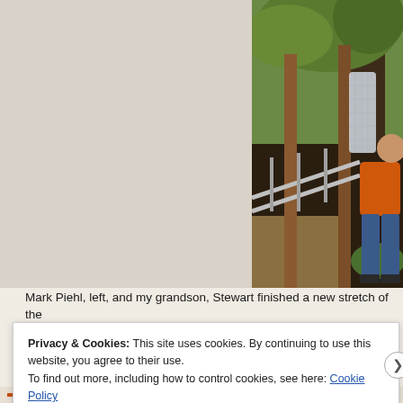[Figure (photo): A person in an orange top and blue jeans working outdoors near wooden fence posts and metal railing, with green trees in background. Left portion shows a plain light beige/grey area (partially obscured or cut off).]
Mark Piehl, left, and my grandson, Stewart finished a new stretch of the
Privacy & Cookies: This site uses cookies. By continuing to use this website, you agree to their use.
To find out more, including how to control cookies, see here: Cookie Policy
Close and accept